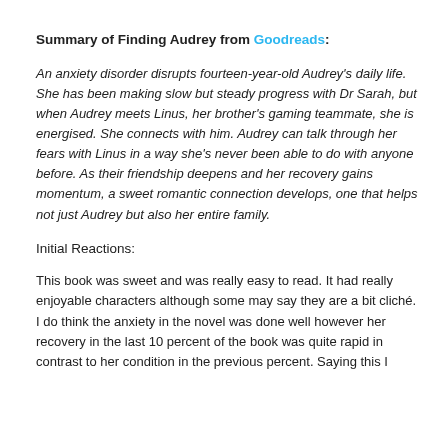Summary of Finding Audrey from Goodreads:
An anxiety disorder disrupts fourteen-year-old Audrey's daily life. She has been making slow but steady progress with Dr Sarah, but when Audrey meets Linus, her brother's gaming teammate, she is energised. She connects with him. Audrey can talk through her fears with Linus in a way she's never been able to do with anyone before. As their friendship deepens and her recovery gains momentum, a sweet romantic connection develops, one that helps not just Audrey but also her entire family.
Initial Reactions:
This book was sweet and was really easy to read. It had really enjoyable characters although some may say they are a bit cliché. I do think the anxiety in the novel was done well however her recovery in the last 10 percent of the book was quite rapid in contrast to her condition in the previous percent. Saying this I didn't mind it and would love to read more.